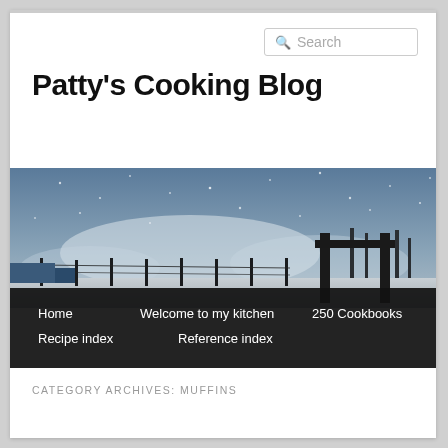Patty's Cooking Blog
[Figure (photo): Winter landscape with snow, mist, fence posts, and a dark crossbeam structure against a grey sky with falling snow. Trees visible in the background. Navigation menu bar overlaid at bottom.]
Home
Welcome to my kitchen
250 Cookbooks
Recipe index
Reference index
CATEGORY ARCHIVES: MUFFINS